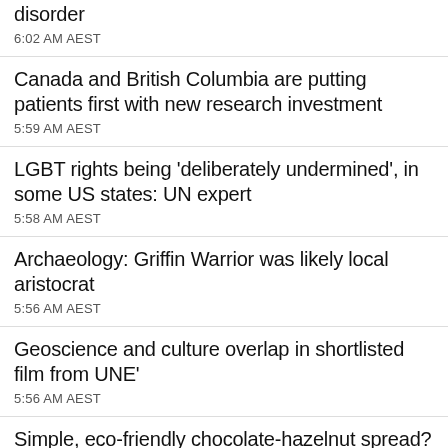disorder
6:02 AM AEST
Canada and British Columbia are putting patients first with new research investment
5:59 AM AEST
LGBT rights being ‘deliberately undermined’, in some US states: UN expert
5:58 AM AEST
Archaeology: Griffin Warrior was likely local aristocrat
5:56 AM AEST
Geoscience and culture overlap in shortlisted film from UNE’
5:56 AM AEST
Simple, eco-friendly chocolate-hazelnut spread? ‘Real food only’ startup has you